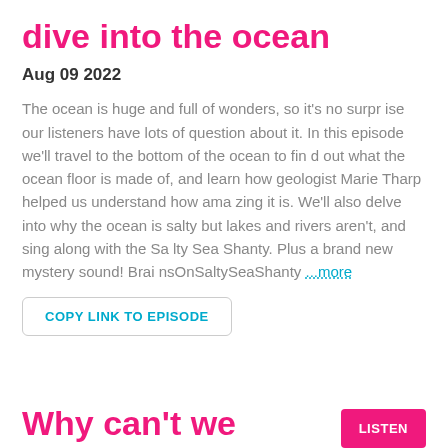dive into the ocean
Aug 09 2022
The ocean is huge and full of wonders, so it's no surprise our listeners have lots of question about it. In this episode we'll travel to the bottom of the ocean to find out what the ocean floor is made of, and learn how geologist Marie Tharp helped us understand how amazing it is. We'll also delve into why the ocean is salty but lakes and rivers aren't, and sing along with the Salty Sea Shanty. Plus a brand new mystery sound! BrainsOnSaltySeaShanty ...more
COPY LINK TO EPISODE
Why can't we
LISTEN